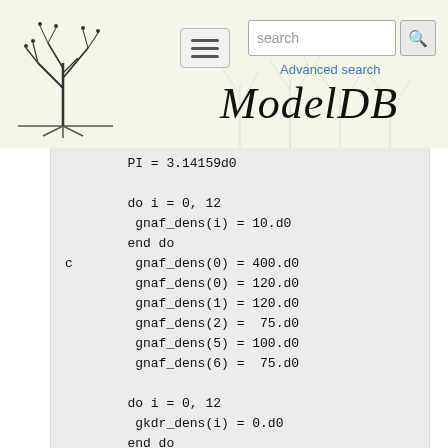ModelDB — Advanced search
PI = 3.14159d0

        do i = 0, 12
         gnaf_dens(i) = 10.d0
        end do
c        gnaf_dens(0) = 400.d0
         gnaf_dens(0) = 120.d0
         gnaf_dens(1) = 120.d0
         gnaf_dens(2) =  75.d0
         gnaf_dens(5) = 100.d0
         gnaf_dens(6) =  75.d0

        do i = 0, 12
         gkdr_dens(i) = 0.d0
        end do
c        gkdr_dens(0) = 400.d0
         gkdr_dens(0) = 100.d0
         gkdr_dens(1) = 100.d0
         gkdr_dens(2) =  75.d0
         gkdr_dens(5) = 100.d0